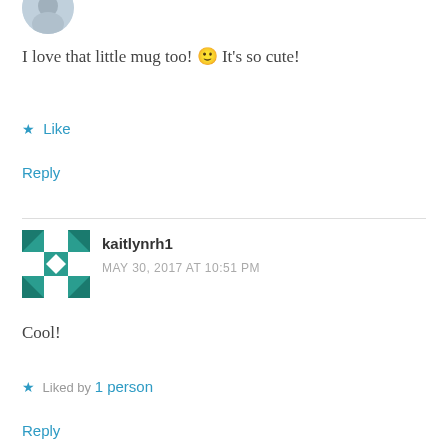[Figure (photo): Partial avatar photo of a user at top left, cropped]
I love that little mug too! 🙂 It's so cute!
★ Like
Reply
[Figure (illustration): Snowflake/quilt pattern avatar for user kaitlynrh1]
kaitlynrh1
MAY 30, 2017 AT 10:51 PM
Cool!
★ Liked by 1 person
Reply